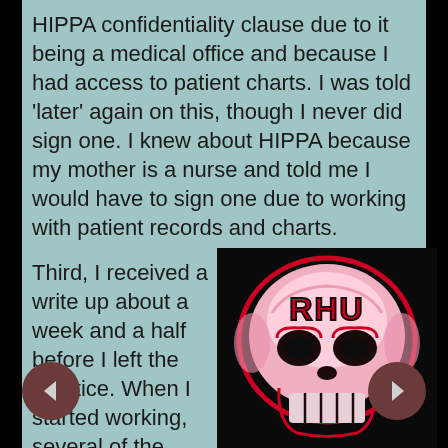HIPPA confidentiality clause due to it being a medical office and because I had access to patient charts. I was told 'later' again on this, though I never did sign one. I knew about HIPPA because my mother is a nurse and told me I would have to sign one due to working with patient records and charts. Throughout my employment there, I repeatedly asked to see a handbook, even on my last day, at which point I was told that it was being revised…
Third, I received a write up about a week and a half before I left the practice. When I started working, several of the
[Figure (logo): A stylized skull logo with 'RHU' text in red letters on a black background with pink/red and white coloring.]